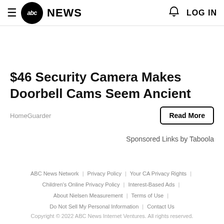abc NEWS | LOG IN
$46 Security Camera Makes Doorbell Cams Seem Ancient
HomeGuarder
Read More
Sponsored Links by Taboola
ABC News Network | Privacy Policy | Your CA Privacy Rights | Children's Online Privacy Policy | Interest-Based Ads | About Nielsen Measurement | Terms of Use | Do Not Sell My Personal Information | Contact Us
Copyright © 2022 ABC News Internet Ventures. All rights reserved.